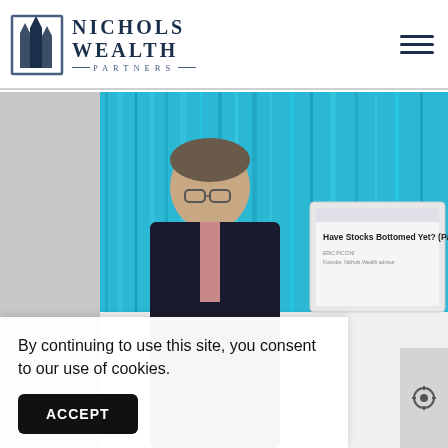[Figure (logo): Nichols Wealth Partners logo with stylized building/spire icon and company name]
[Figure (photo): Man in dark suit smiling in front of blue abstract artwork, with a laptop/presentation screen visible showing 'Have Stocks Bottomed Yet? (Part 3)']
By continuing to use this site, you consent to our use of cookies.
ACCEPT